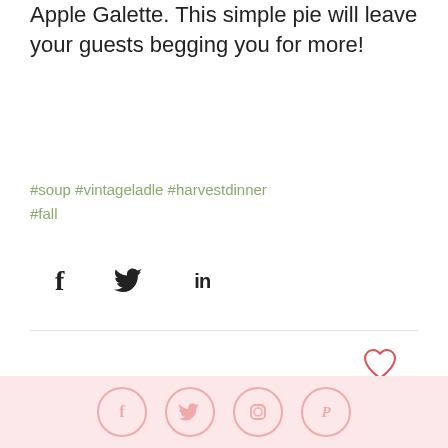Apple Galette. This simple pie will leave your guests begging you for more!
#soup #vintageladle #harvestdinner #fall
[Figure (infographic): Social share icons: Facebook (f), Twitter (bird), LinkedIn (in)]
[Figure (infographic): Heart/like icon outline in red/pink]
0 comments
[Figure (infographic): User avatar placeholder (gray silhouette), Leave a message... input box, scroll-to-top button (gray with up arrow)]
[Figure (infographic): Pink footer bar with social icon circles: Facebook, Twitter, Instagram, Pinterest]